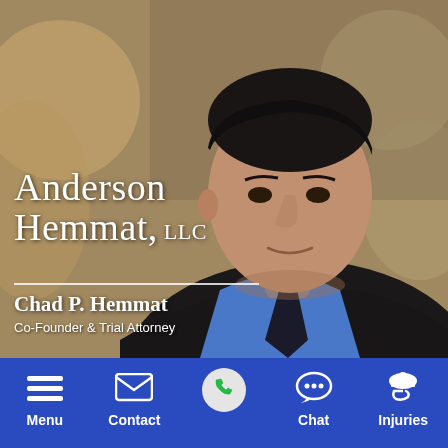[Figure (photo): Professional headshot of Chad P. Hemmat, a middle-aged man with dark hair wearing a dark suit jacket, blue dress shirt, and dark tie, photographed against a blurred office background with warm bokeh lighting.]
Anderson Hemmat, LLC
Chad P. Hemmat
Co-Founder & Trial Attorney
Menu  Contact  [Call Button]  Chat  Injuries